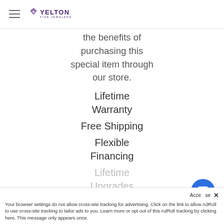Yelton Fine Jewelers
the benefits of purchasing this special item through our store.
Lifetime Warranty
Free Shipping
Flexible Financing
Lifetime Upgrades
Your browser settings do not allow cross-site tracking for advertising. Click on the link to allow AdRoll to use cross-site tracking to tailor ads to you. Learn more or opt out of this AdRoll tracking by clicking here. This message only appears once.